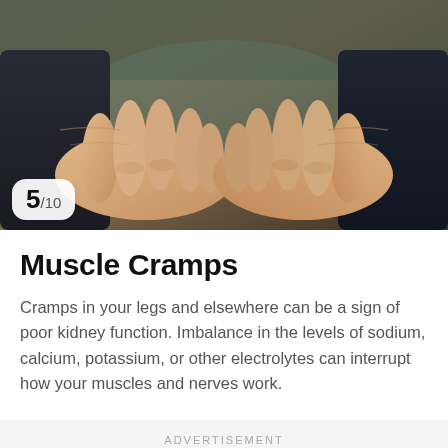[Figure (photo): Close-up photograph of two elderly hands resting on a wooden surface, viewed from above against a dark background]
5/10
Muscle Cramps
Cramps in your legs and elsewhere can be a sign of poor kidney function. Imbalance in the levels of sodium, calcium, potassium, or other electrolytes can interrupt how your muscles and nerves work.
ADVERTISEMENT